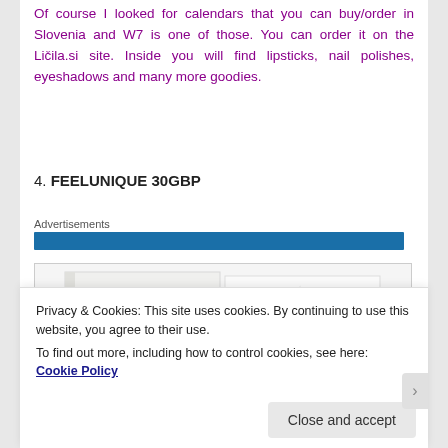Of course I looked for calendars that you can buy/order in Slovenia and W7 is one of those. You can order it on the Ličila.si site. Inside you will find lipsticks, nail polishes, eyeshadows and many more goodies.
4. FEELUNIQUE 30GBP
Advertisements
[Figure (photo): Product image showing a white box labeled MAGIC with star decorations]
Privacy & Cookies: This site uses cookies. By continuing to use this website, you agree to their use.
To find out more, including how to control cookies, see here: Cookie Policy